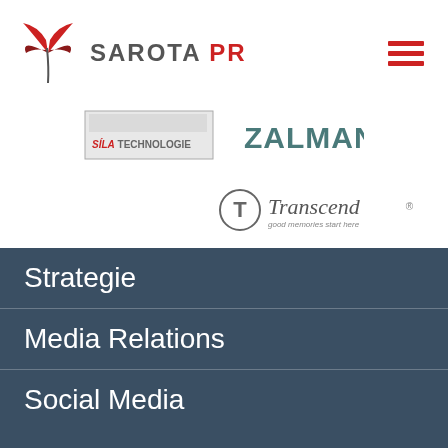[Figure (logo): Sarota PR logo with red butterfly and text SAROTA PR]
[Figure (logo): Hamburger menu icon with three red horizontal bars]
[Figure (logo): Sila Technologie logo in grey box]
[Figure (logo): Zalman logo in teal/grey text]
[Figure (logo): Transcend logo - good memories start here]
Strategie
Media Relations
Social Media